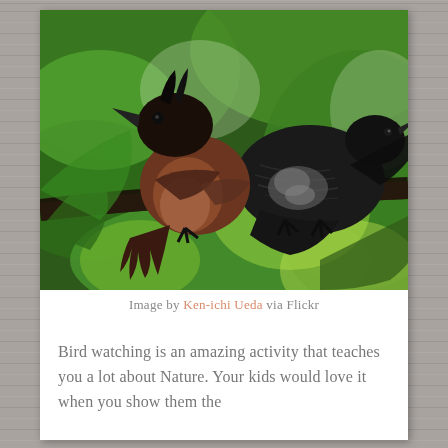[Figure (photo): Close-up photograph of two birds perched on a branch surrounded by large green tropical leaves. One bird is brown/reddish-brown and the other is dark/black with textured feathers.]
Image by Ken-ichi Ueda via Flickr
Bird watching is an amazing activity that teaches you a lot about Nature. Your kids would love it when you show them the